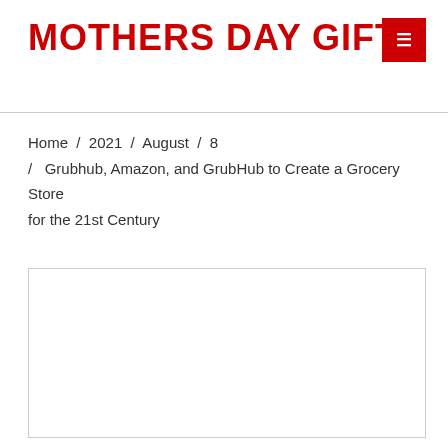MOTHERS DAY GIFTS
Home / 2021 / August / 8 / Grubhub, Amazon, and GrubHub to Create a Grocery Store for the 21st Century
[Figure (other): Empty white content box with light gray border]